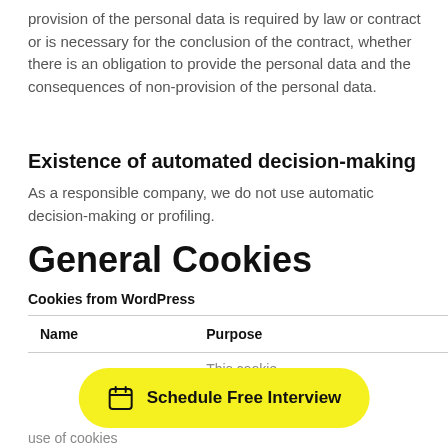provision of the personal data is required by law or contract or is necessary for the conclusion of the contract, whether there is an obligation to provide the personal data and the consequences of non-provision of the personal data.
Existence of automated decision-making
As a responsible company, we do not use automatic decision-making or profiling.
General Cookies
Cookies from WordPress
| Name | Purpose |
| --- | --- |
|  | This cookie |
[Figure (other): Yellow rounded button with calendar icon and text 'Schedule Free Interview']
use of cookies